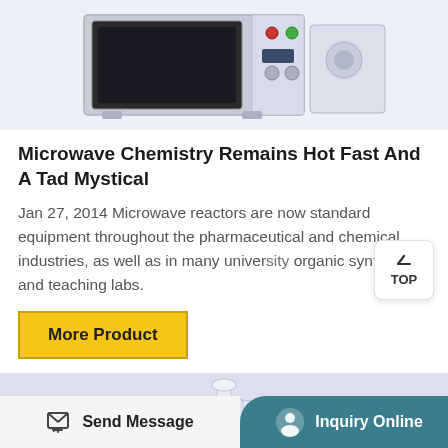[Figure (photo): Microwave reactor laboratory equipment, white/grey unit with dark chamber window visible at top of page]
Microwave Chemistry Remains Hot Fast And A Tad Mystical
Jan 27, 2014 Microwave reactors are now standard equipment throughout the pharmaceutical and chemical industries, as well as in many university organic synthesis and teaching labs.
[Figure (photo): Close-up of laboratory glassware/flask on a metallic surface, bottom portion of page]
Send Message | Inquiry Online